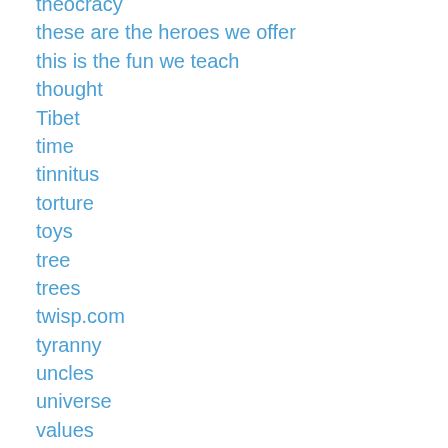theocracy
these are the heroes we offer
this is the fun we teach
thought
Tibet
time
tinnitus
torture
toys
tree
trees
twisp.com
tyranny
uncles
universe
values
Vatican
vegetarian
veterans
video games